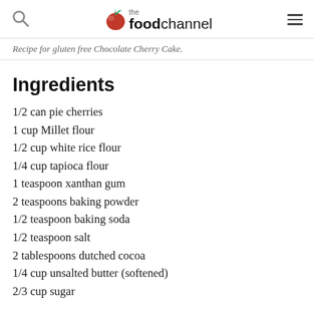the foodchannel
Recipe for gluten free Chocolate Cherry Cake.
Ingredients
1/2 can pie cherries
1 cup Millet flour
1/2 cup white rice flour
1/4 cup tapioca flour
1 teaspoon xanthan gum
2 teaspoons baking powder
1/2 teaspoon baking soda
1/2 teaspoon salt
2 tablespoons dutched cocoa
1/4 cup unsalted butter (softened)
2/3 cup sugar